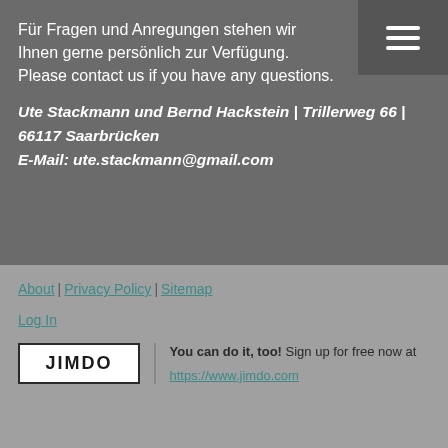Für Fragen und Anregungen stehen wir Ihnen gerne persönlich zur Verfügung.
Please contact us if you have any questions.
Ute Stackmann und Bernd Hackstein | Trillerweg 66 | 66117 Saarbrücken
E-Mail: ute.stackmann@gmail.com
About | Privacy Policy | Sitemap
Log In
You can do it, too! Sign up for free now at https://www.jimdo.com